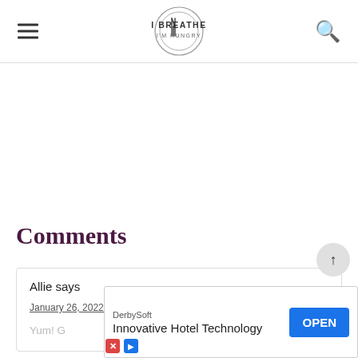I BREATHE I'M HUNGRY
Comments
Allie says
January 26, 2022 at 6:23 pm
Yum! G…